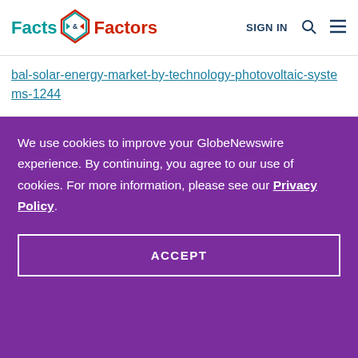Facts & Factors | SIGN IN
bal-solar-energy-market-by-technology-photovoltaic-systems-1244
We use cookies to improve your GlobeNewswire experience. By continuing, you agree to our use of cookies. For more information, please see our Privacy Policy.
ACCEPT